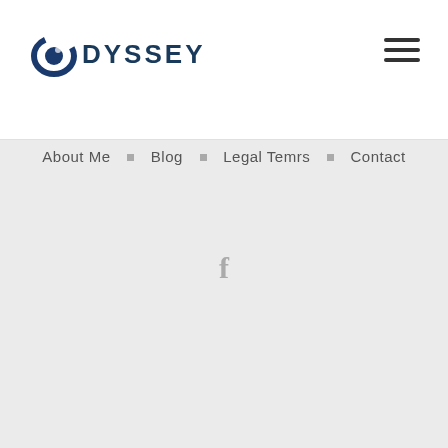[Figure (logo): Odyssey logo with circular dark blue arc/ring graphic and bold uppercase ODYSSEY text]
[Figure (other): Hamburger menu icon (three horizontal lines) in top right corner]
About Me  □  Blog  □  Legal Temrs  □  Contact
[Figure (other): Facebook icon (letter f) in grey]